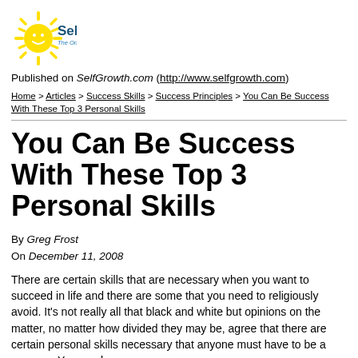[Figure (logo): SelfGrowth.com logo with sun icon and tagline 'The Online Self Improvement Encyclopedia']
Published on SelfGrowth.com (http://www.selfgrowth.com)
Home > Articles > Success Skills > Success Principles > You Can Be Success With These Top 3 Personal Skills
You Can Be Success With These Top 3 Personal Skills
By Greg Frost
On December 11, 2008
There are certain skills that are necessary when you want to succeed in life and there are some that you need to religiously avoid. It's not really all that black and white but opinions on the matter, no matter how divided they may be, agree that there are certain personal skills necessary that anyone must have to be a success. You can be a